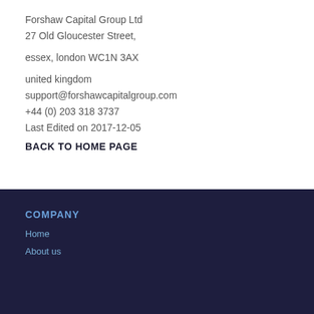Forshaw Capital Group Ltd
27 Old Gloucester Street,

essex, london WC1N 3AX

united kingdom
support@forshawcapitalgroup.com
+44 (0) 203 318 3737
Last Edited on 2017-12-05
BACK TO HOME PAGE
COMPANY
Home
About us